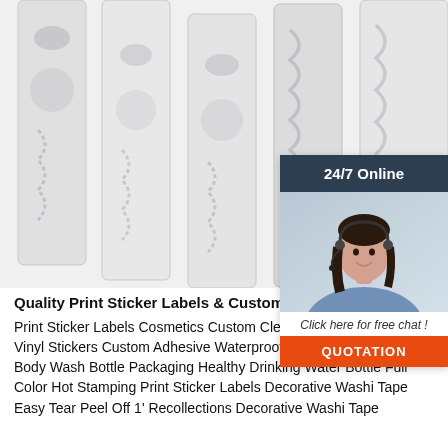[Figure (photo): Five white embossed label strips with raised patterns, arranged vertically side by side on a white background]
[Figure (infographic): Customer service chat widget with '24/7 Online' header in dark teal, photo of smiling female agent with headset, 'Click here for free chat!' text, and orange QUOTATION button]
Quality Print Sticker Labels & Custom Sticker Labels
Print Sticker Labels Cosmetics Custom Clear Perfume Transparent Vinyl Stickers Custom Adhesive Waterproof Label Synthetic Paper Body Wash Bottle Packaging Healthy Drinking Water Bottle Full Color Hot Stamping Print Sticker Labels Decorative Washi Tape Easy Tear Peel Off 1' Recollections Decorative Washi Tape